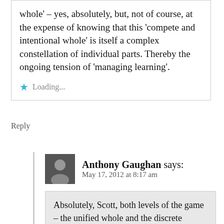whole' – yes, absolutely, but, not of course, at the expense of knowing that this 'compete and intentional whole' is itself a complex constellation of individual parts. Thereby the ongoing tension of 'managing learning'.
Loading...
Reply
Anthony Gaughan says:
May 17, 2012 at 8:17 am
Absolutely, Scott, both levels of the game – the unified whole and the discrete networked elements – need to be kept in mind.

As there is always an attentional cost to any cognitive activity though (making an assertion as fact here…), I wonder